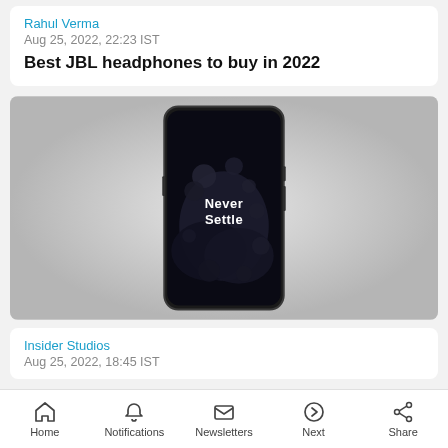Rahul Verma
Aug 25, 2022, 22:23 IST
Best JBL headphones to buy in 2022
[Figure (photo): A OnePlus smartphone displayed against a light grey gradient background, showing the 'Never Settle' wallpaper with dark rocky/stone imagery on the screen.]
Insider Studios
Aug 25, 2022, 18:45 IST
Home  Notifications  Newsletters  Next  Share